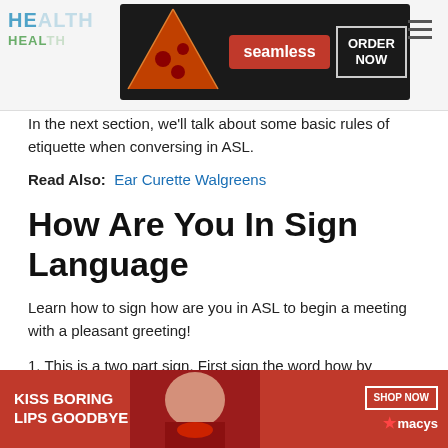HE... HEAL... [website logo with seamless ad banner: ORDER NOW]
In the next section, we'll talk about some basic rules of etiquette when conversing in ASL.
Read Also: Ear Curette Walgreens
How Are You In Sign Language
Learn how to sign how are you in ASL to begin a meeting with a pleasant greeting!
1. This is a two part sign. First sign the word how by placing both fists together, thumbs up, and rolling your knuckles forward... are slightly... t the
[Figure (screenshot): Bottom advertisement banner: KISS BORING LIPS GOODBYE - SHOP NOW - macys logo with CLOSE button overlay]